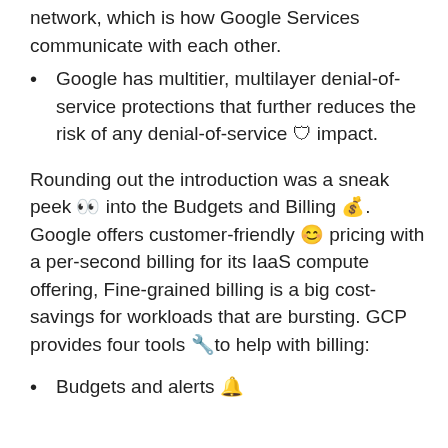network, which is how Google Services communicate with each other.
Google has multitier, multilayer denial-of-service protections that further reduces the risk of any denial-of-service 🛡 impact.
Rounding out the introduction was a sneak peek 👀 into the Budgets and Billing 💰. Google offers customer-friendly 😊 pricing with a per-second billing for its IaaS compute offering, Fine-grained billing is a big cost-savings for workloads that are bursting. GCP provides four tools 🔧to help with billing:
Budgets and alerts 🔔